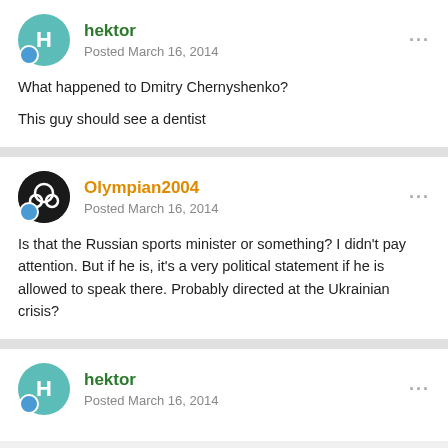hektor
Posted March 16, 2014
What happened to Dmitry Chernyshenko?

This guy should see a dentist
Olympian2004
Posted March 16, 2014
Is that the Russian sports minister or something? I didn't pay attention. But if he is, it's a very political statement if he is allowed to speak there. Probably directed at the Ukrainian crisis?
hektor
Posted March 16, 2014